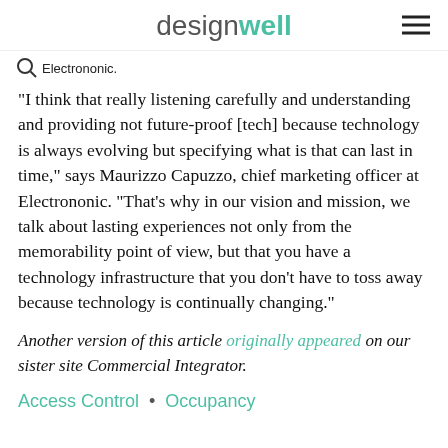designwell
Electrononic.
“I think that really listening carefully and understanding and providing not future-proof [tech] because technology is always evolving but specifying what is that can last in time,” says Maurizzo Capuzzo, chief marketing officer at Electrononic. “That’s why in our vision and mission, we talk about lasting experiences not only from the memorability point of view, but that you have a technology infrastructure that you don’t have to toss away because technology is continually changing.”
Another version of this article originally appeared on our sister site Commercial Integrator.
Access Control
Occupancy